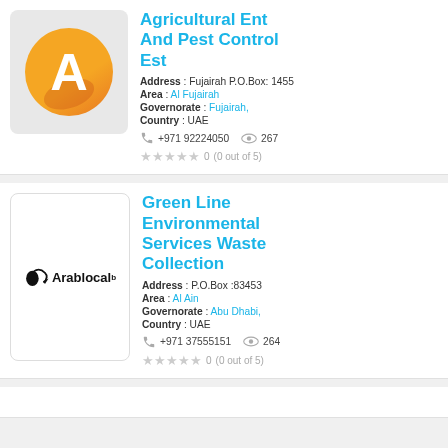[Figure (logo): Yellow/orange circle with white letter A and orange shadow — company logo for Agricultural Ent And Pest Control Est]
Agricultural Ent And Pest Control Est
Address : Fujairah P.O.Box: 1455
Area : Al Fujairah
Governorate : Fujairah,
Country : UAE
+971 92224050   267
0  (0 out of 5)
[Figure (logo): Arablocal logo — person with arrow icon and text Arablocal]
Green Line Environmental Services Waste Collection
Address : P.O.Box :83453
Area : Al Ain
Governorate : Abu Dhabi,
Country : UAE
+971 37555151   264
0  (0 out of 5)